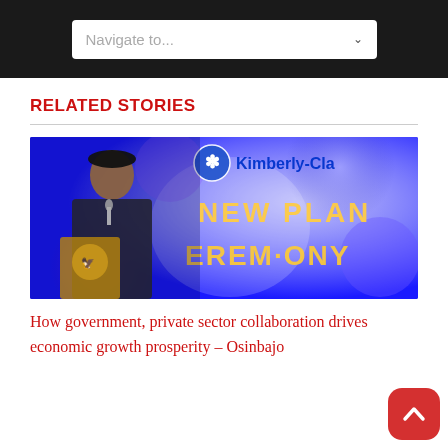Navigate to...
RELATED STORIES
[Figure (photo): A man in traditional Nigerian attire speaking at a podium with the Nigerian coat of arms, in front of a Kimberly-Clark New Plant Ceremony backdrop with blue and purple bokeh lighting]
How government, private sector collaboration drives economic growth prosperity – Osinbajo